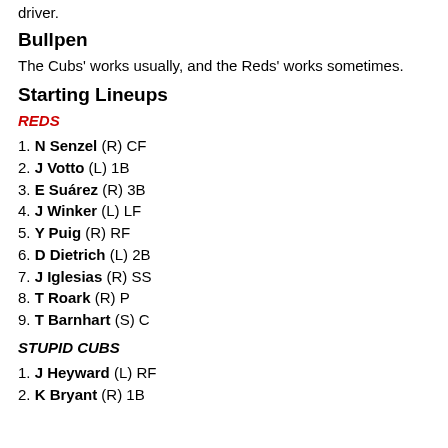driver.
Bullpen
The Cubs' works usually, and the Reds' works sometimes.
Starting Lineups
REDS
1. N Senzel (R) CF
2. J Votto (L) 1B
3. E Suárez (R) 3B
4. J Winker (L) LF
5. Y Puig (R) RF
6. D Dietrich (L) 2B
7. J Iglesias (R) SS
8. T Roark (R) P
9. T Barnhart (S) C
STUPID CUBS
1. J Heyward (L) RF
2. K Bryant (R) 1B